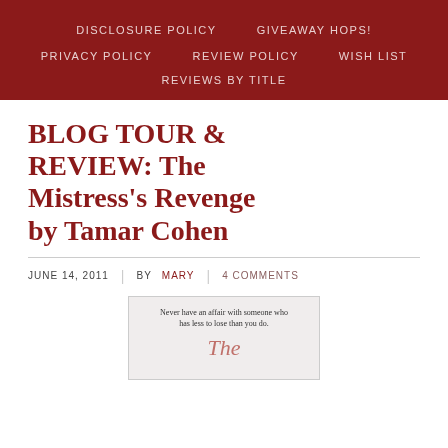DISCLOSURE POLICY   GIVEAWAY HOPS!   PRIVACY POLICY   REVIEW POLICY   WISH LIST   REVIEWS BY TITLE
BLOG TOUR & REVIEW: The Mistress's Revenge by Tamar Cohen
JUNE 14, 2011   BY MARY   4 COMMENTS
[Figure (photo): Book cover of The Mistress's Revenge with tagline: Never have an affair with someone who has less to lose than you do. Title 'The' visible in red italic text on a light background.]